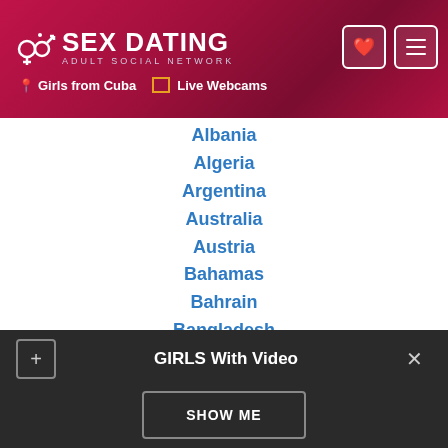SEX DATING ADULT SOCIAL NETWORK | Girls from Cuba | Live Webcams
Albania
Algeria
Argentina
Australia
Austria
Bahamas
Bahrain
Bangladesh
Belgium
Belize
Bosnia and Herzegovina
Brazil
Bulgaria
GIRLS With Video | SHOW ME